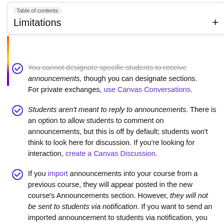Table of contents — Limitations
You cannot designate specific students to receive announcements, though you can designate sections. For private exchanges, use Canvas Conversations.
Students aren't meant to reply to announcements. There is an option to allow students to comment on announcements, but this is off by default; students won't think to look here for discussion. If you're looking for interaction, create a Canvas Discussion.
If you import announcements into your course from a previous course, they will appear posted in the new course's Announcements section. However, they will not be sent to students via notification. If you want to send an imported announcement to students via notification, you have two options: